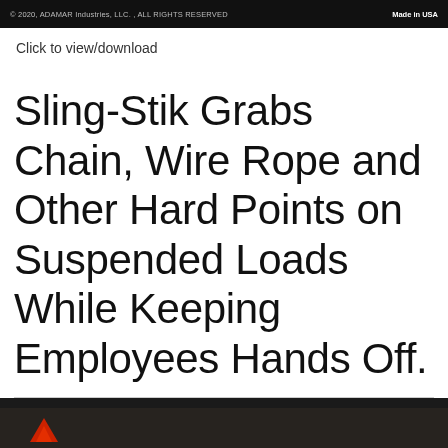© 2020, ADAMAR Industries, LLC. , ALL RIGHTS RESERVED | Made in USA
Click to view/download
Sling-Stik Grabs Chain, Wire Rope and Other Hard Points on Suspended Loads While Keeping Employees Hands Off.
[Figure (photo): Dark background image, partially visible, showing a red triangular logo or object at the bottom of the page.]